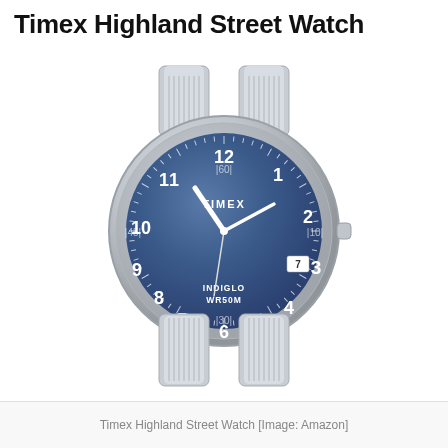Timex Highland Street Watch
[Figure (photo): A Timex Highland Street Watch with a silver stainless steel expansion bracelet and a blue dial with white Arabic numeral hour markers (12, 1, 2, 3, 4, 5, 6, 7, 8, 9, 10, 11), TIMEX branding, INDIGLO and WR50M text, date window at 3 o'clock, minute track around the dial edge, and silver-toned hands. The watch crown is visible on the right side.]
Timex Highland Street Watch [Image: Amazon]